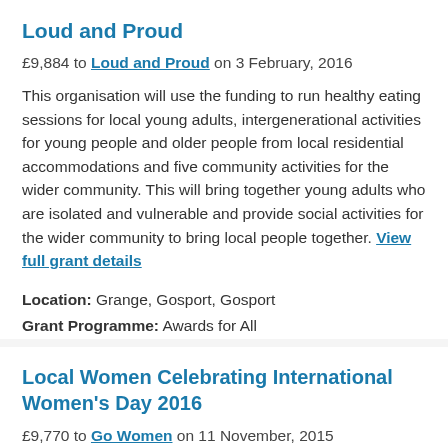Loud and Proud
£9,884 to Loud and Proud on 3 February, 2016
This organisation will use the funding to run healthy eating sessions for local young adults, intergenerational activities for young people and older people from local residential accommodations and five community activities for the wider community. This will bring together young adults who are isolated and vulnerable and provide social activities for the wider community to bring local people together. View full grant details
Location: Grange, Gosport, Gosport
Grant Programme: Awards for All
Local Women Celebrating International Women's Day 2016
£9,770 to Go Women on 11 November, 2015